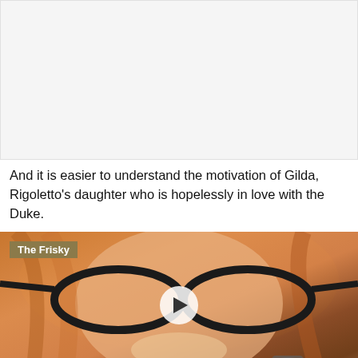[Figure (photo): White/light gray empty rectangle at top of page]
And it is easier to understand the motivation of Gilda, Rigoletto's daughter who is hopelessly in love with the Duke.
[Figure (photo): Close-up photo of a woman with red/auburn hair wearing large black cat-eye glasses, smiling, holding a microphone. Overlay shows 'The Frisky' label in top-left and a play button in the center.]
Format: DVD, Blu-ray 2010 Live from the Artists Den• Label: Epic, Sony BMG —• These dates support the highly anticipated, forthcoming album, which is hoped will be released towards